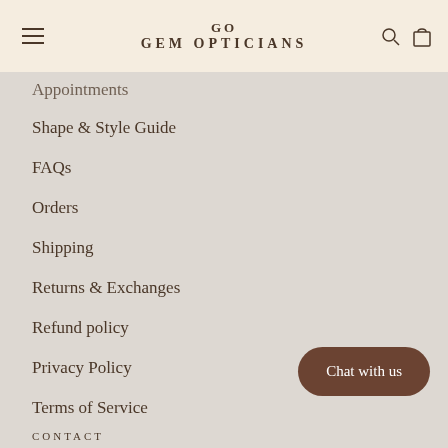GO GEM OPTICIANS
Appointments
Shape & Style Guide
FAQs
Orders
Shipping
Returns & Exchanges
Refund policy
Privacy Policy
Terms of Service
Chat with us
CONTACT